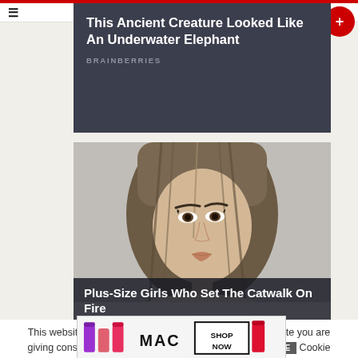This Ancient Creature Looked Like An Underwater Elephant — BRAINBERRIES
[Figure (photo): Close-up portrait photo of a young woman with straight shoulder-length brown hair, against a blurred outdoor background]
Plus-Size Girls Who Set The Catwalk On Fire
BRAINBERRIES
This website uses cookies. By continuing to use this website you are giving consent to cookies being used. Visit our Priv... Cookie
[Figure (photo): MAC Cosmetics advertisement banner showing lipsticks and SHOP NOW text]